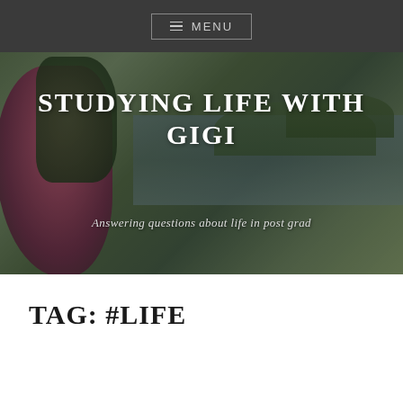MENU
[Figure (photo): Hero banner photo showing pink oleander flowers on the left and a lake/waterway with trees in the background, overlaid with site title and subtitle text]
STUDYING LIFE WITH GIGI
Answering questions about life in post grad
TAG: #LIFE